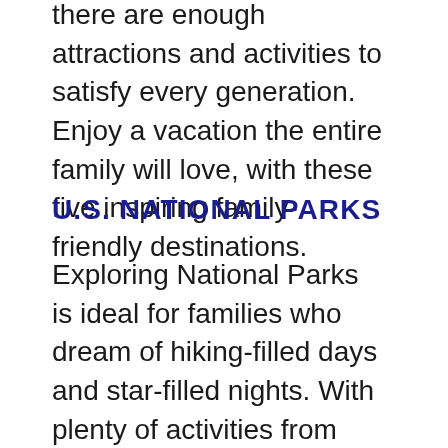there are enough attractions and activities to satisfy every generation. Enjoy a vacation the entire family will love, with these five inspiring family-friendly destinations.
U.S. NATIONAL PARKS
Exploring National Parks is ideal for families who dream of hiking-filled days and star-filled nights. With plenty of activities from ranger-led talks and hikes, to photographing stunning vistas and wildlife, to biking, horseback riding or white